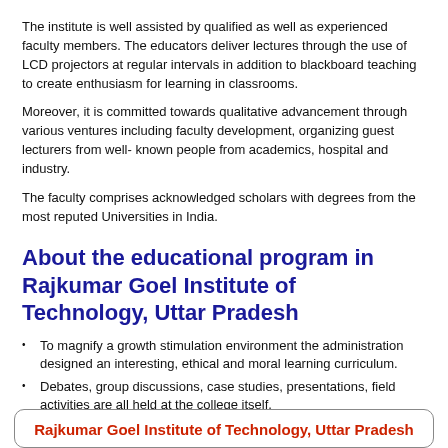The institute is well assisted by qualified as well as experienced faculty members. The educators deliver lectures through the use of LCD projectors at regular intervals in addition to blackboard teaching to create enthusiasm for learning in classrooms.
Moreover, it is committed towards qualitative advancement through various ventures including faculty development, organizing guest lecturers from well- known people from academics, hospital and industry.
The faculty comprises acknowledged scholars with degrees from the most reputed Universities in India.
About the educational program in Rajkumar Goel Institute of Technology, Uttar Pradesh
To magnify a growth stimulation environment the administration designed an interesting, ethical and moral learning curriculum.
Debates, group discussions, case studies, presentations, field activities are all held at the college itself.
College conducts several sports events, cultural activities, plan trips and much more.
Rajkumar Goel Institute of Technology, Uttar Pradesh